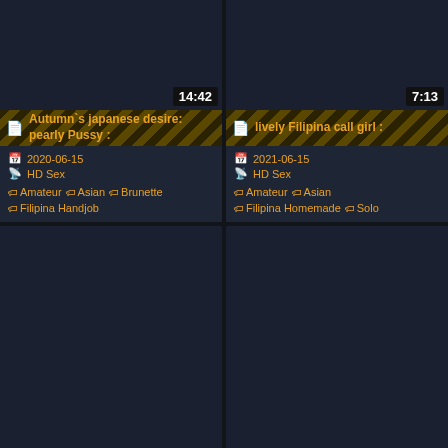14:42
Autumn`s japanese desire: pearly Pussy :
2020-06-15
HD Sex
Amateur  Asian  Brunette  Filipina Handjob
7:13
lively Filipina call girl :
2021-06-15
HD Sex
Amateur  Asian  Filipina Homemade  Solo